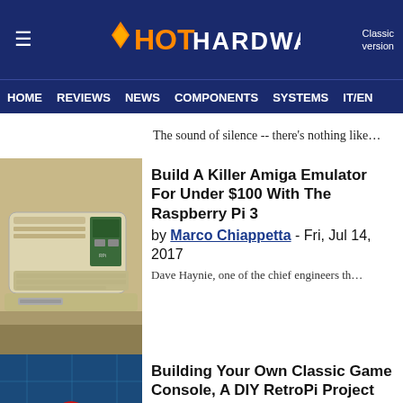HotHardware - Classic version
HOME | REVIEWS | NEWS | COMPONENTS | SYSTEMS | IT/EN
The sound of silence -- there's nothing like…
Build A Killer Amiga Emulator For Under $100 With The Raspberry Pi 3
by Marco Chiappetta - Fri, Jul 14, 2017
Dave Haynie, one of the chief engineers th…
Building Your Own Classic Game Console, A DIY RetroPi Project With Raspberry Pi
by Chris Suapaia - Thu, Jan 19, 2017
Retro gaming made a major resurgence thi…